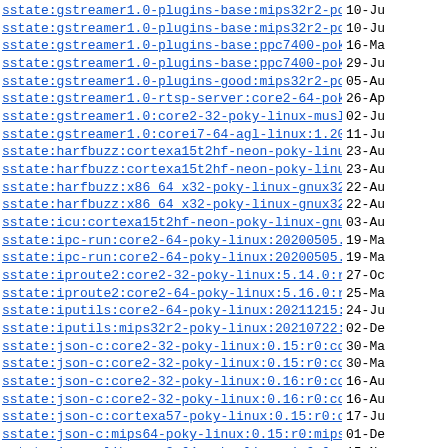sstate:gstreamer1.0-plugins-base:mips32r2-poky-..> 10-Ju
sstate:gstreamer1.0-plugins-base:mips32r2-poky-..> 10-Ju
sstate:gstreamer1.0-plugins-base:ppc7400-poky-1..> 16-Ma
sstate:gstreamer1.0-plugins-base:ppc7400-poky-1..> 29-Ju
sstate:gstreamer1.0-plugins-good:mips32r2-poky-..> 05-Au
sstate:gstreamer1.0-rtsp-server:core2-64-poky-1..> 26-Ap
sstate:gstreamer1.0:core2-32-poky-linux-musl:1...> 02-Ju
sstate:gstreamer1.0:corei7-64-agl-linux:1.20.3:..> 11-Ju
sstate:harfbuzz:cortexa15t2hf-neon-poky-linux-g..> 23-Au
sstate:harfbuzz:cortexa15t2hf-neon-poky-linux-g..> 23-Au
sstate:harfbuzz:x86_64_x32-poky-linux-gnux32:2...> 22-Au
sstate:harfbuzz:x86_64_x32-poky-linux-gnux32:2...> 22-Au
sstate:icu:cortexa15t2hf-neon-poky-linux-gnueab..> 03-Au
sstate:ipc-run:core2-64-poky-linux:20200505.0:r..> 19-Ma
sstate:ipc-run:core2-64-poky-linux:20200505.0:r..> 19-Ma
sstate:iproute2:core2-32-poky-linux:5.14.0:r0:c..> 27-Oc
sstate:iproute2:core2-64-poky-linux:5.16.0:r0:c..> 25-Ma
sstate:iputils:core2-64-poky-linux:20211215:r0:..> 24-Ju
sstate:iputils:mips32r2-poky-linux:20210722:r0:..> 02-De
sstate:json-c:core2-32-poky-linux:0.15:r0:core2..> 30-Ma
sstate:json-c:core2-32-poky-linux:0.15:r0:core2..> 30-Ma
sstate:json-c:core2-32-poky-linux:0.16:r0:core2..> 16-Au
sstate:json-c:core2-32-poky-linux:0.16:r0:core2..> 16-Au
sstate:json-c:cortexa57-poky-linux:0.15:r0:cort..> 17-Ju
sstate:json-c:mips64-poky-linux:0.15:r0:mips64:..> 01-De
sstate:json-glib:core2-64-poky-linux:1.6.6:r0:c..> 15-No
sstate:jsoncpp:core2-64-poky-linux:1.9.5:r0:cor..> 29-Ma
sstate:kernel-devsrc:qemux86-poky-linux:1.0:r0:..> 12-Ju
sstate:keymaps:qemux86_64-poky-linux:1.0:r31:qe..> 06-Oc
sstate:keymaps:qemux86_64-poky-linux:1.0:r31:qe.. 06-Oc